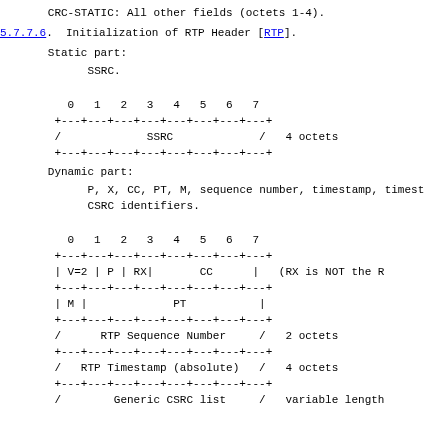CRC-STATIC: All other fields (octets 1-4).
5.7.7.6.  Initialization of RTP Header [RTP].
Static part:
SSRC.
[Figure (schematic): Bit field diagram for SSRC static part, 8 bits wide (0-7), containing SSRC field spanning full width, 4 octets]
Dynamic part:
P, X, CC, PT, M, sequence number, timestamp, timestamp stride, V, CSRC identifiers.
[Figure (schematic): Bit field diagram for dynamic part: V=2, P, RX, CC row; M, PT row; RTP Sequence Number 2 octets; RTP Timestamp (absolute) 4 octets; Generic CSRC list variable length]